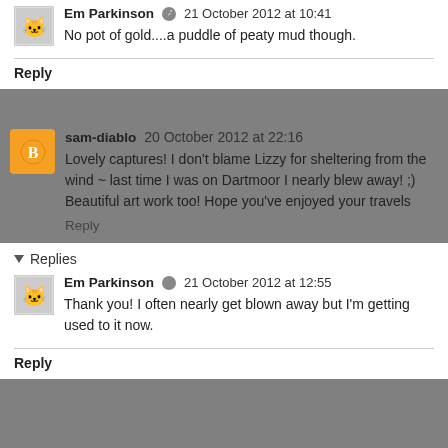Em Parkinson · 21 October 2012 at 10:41
No pot of gold....a puddle of peaty mud though.
Reply
sam-diablo 20 October 2012 at 22:16
Lovely captures! I don't blame Lizzy for sheltering from the wind ~ last time I was on Dartmoor I nearly blew away! ;) Beautiful art work too! Hope you've enjoyed your travels
Reply
Replies
Em Parkinson · 21 October 2012 at 12:55
Thank you! I often nearly get blown away but I'm getting used to it now.
Reply